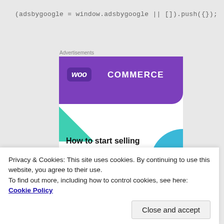[Figure (screenshot): WooCommerce advertisement banner showing the WooCommerce logo on a purple background with green and blue geometric shapes, and text 'How to start selling subscriptions online']
Privacy & Cookies: This site uses cookies. By continuing to use this website, you agree to their use.
To find out more, including how to control cookies, see here: Cookie Policy
Close and accept